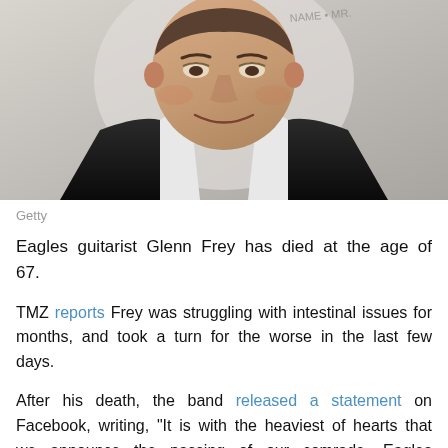[Figure (photo): Portrait photo of a middle-aged man in a black suit smiling at the camera against a light background, with partial text visible in upper right corner]
Getty
Eagles guitarist Glenn Frey has died at the age of 67.
TMZ reports Frey was struggling with intestinal issues for months, and took a turn for the worse in the last few days.
After his death, the band released a statement on Facebook, writing, "It is with the heaviest of hearts that we announce the passing of our comrade, Eagles founder, Glenn Frey, in New York City on Monday, January 18th, 2016. Glenn fought a courageous battle